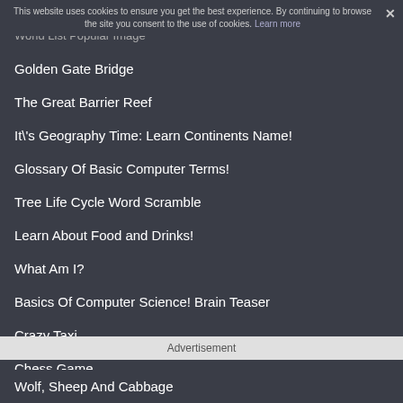This website uses cookies to ensure you get the best experience. By continuing to browse the site you consent to the use of cookies. Learn more
World List Popular Image
Golden Gate Bridge
The Great Barrier Reef
It\'s Geography Time: Learn Continents Name!
Glossary Of Basic Computer Terms!
Tree Life Cycle Word Scramble
Learn About Food and Drinks!
What Am I?
Basics Of Computer Science! Brain Teaser
Crazy Taxi
Chess Game
Advertisement
Wolf, Sheep And Cabbage